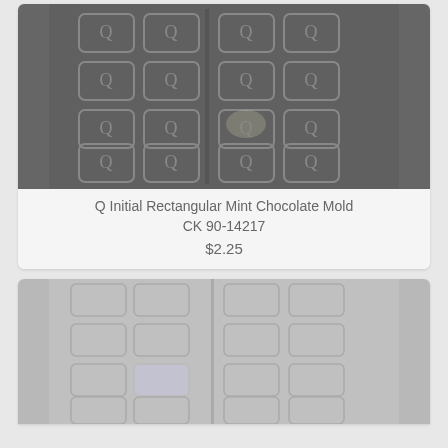[Figure (photo): Dark gray chocolate mold tray with rectangular compartments embossed with the letter Q, arranged in a grid pattern (two panels side by side)]
Q Initial Rectangular Mint Chocolate Mold
CK 90-14217
$2.25
[Figure (photo): Light gray/clear chocolate mold tray with rectangular compartments arranged in a grid, partially visible at the bottom of the page]